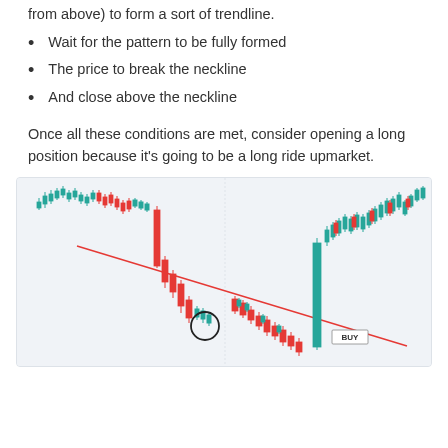from above) to form a sort of trendline.
Wait for the pattern to be fully formed
The price to break the neckline
And close above the neckline
Once all these conditions are met, consider opening a long position because it’s going to be a long ride upmarket.
[Figure (screenshot): Candlestick chart showing a descending trendline (neckline) drawn in red, with red and green candlesticks. A circle highlights a low point near the neckline. A BUY label appears at the right side where price breaks up through the trendline and rallies strongly.]